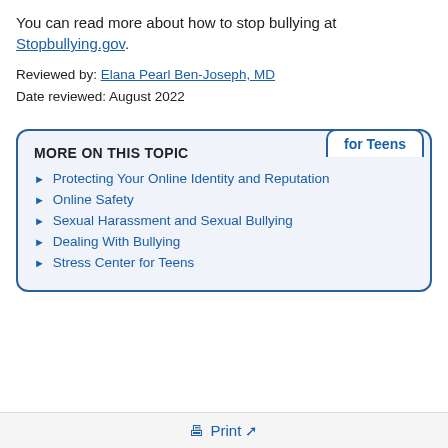You can read more about how to stop bullying at Stopbullying.gov.
Reviewed by: Elana Pearl Ben-Joseph, MD
Date reviewed: August 2022
MORE ON THIS TOPIC
Protecting Your Online Identity and Reputation
Online Safety
Sexual Harassment and Sexual Bullying
Dealing With Bullying
Stress Center for Teens
Print